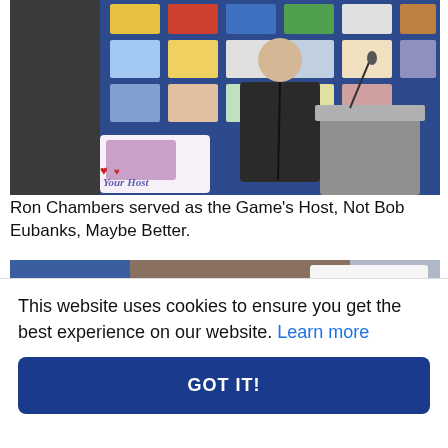[Figure (photo): A man in a dark suit speaking at a podium. Behind him is a blue display board covered with colorful flags and pennants. A sign in the foreground reads 'Your Host' with decorative hearts and a cupid figure.]
Ron Chambers served as the Game's Host, Not Bob Eubanks, Maybe Better.
[Figure (photo): A person holding up a white piece of paper with handwritten text reading 'Spending Time with kids'.]
This website uses cookies to ensure you get the best experience on our website. Learn more